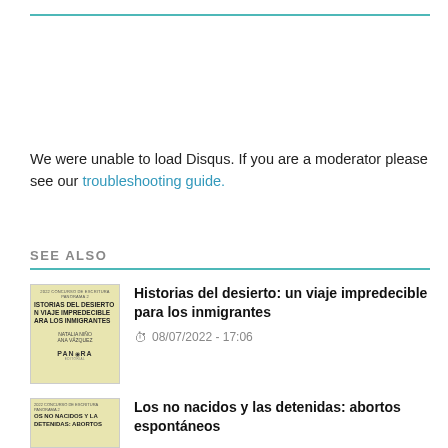We were unable to load Disqus. If you are a moderator please see our troubleshooting guide.
SEE ALSO
[Figure (photo): Book cover thumbnail for Historias del desierto: un viaje impredecible para los inmigrantes, yellow background with title and authors NATALIA NIÑO ANA VÁZQUEZ, publisher PANORAMA]
Historias del desierto: un viaje impredecible para los inmigrantes
08/07/2022 - 17:06
[Figure (photo): Book cover thumbnail for Los no nacidos y las detenidas: abortos espontáneos, yellow background with partial title text]
Los no nacidos y las detenidas: abortos espontáneos